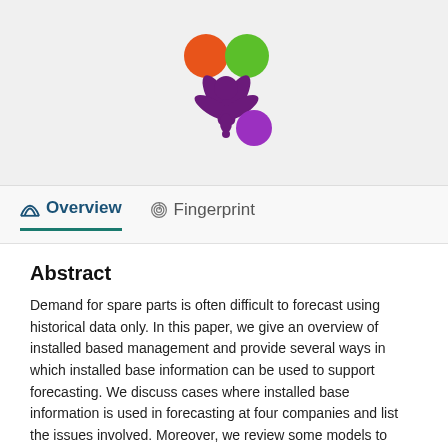[Figure (logo): Academic publisher logo — colorful splat-style icon with orange, green, and purple circles]
Overview   Fingerprint
Abstract
Demand for spare parts is often difficult to forecast using historical data only. In this paper, we give an overview of installed based management and provide several ways in which installed base information can be used to support forecasting. We discuss cases where installed base information is used in forecasting at four companies and list the issues involved. Moreover, we review some models to illustrate the potential value of the installed base information and conclude that forecasts of spare parts demand and return can be made considerably more timely and accurate using installed base